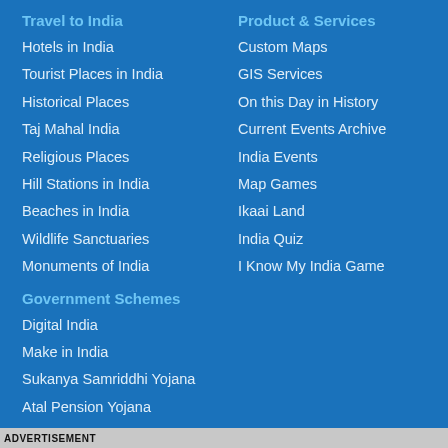Travel to India
Hotels in India
Tourist Places in India
Historical Places
Taj Mahal India
Religious Places
Hill Stations in India
Beaches in India
Wildlife Sanctuaries
Monuments of India
Government Schemes
Digital India
Make in India
Sukanya Samriddhi Yojana
Atal Pension Yojana
Swachh Bharat Abhiyan
PM Awas Yojana
Product & Services
Custom Maps
GIS Services
On this Day in History
Current Events Archive
India Events
Map Games
Ikaai Land
India Quiz
I Know My India Game
ADVERTISEMENT